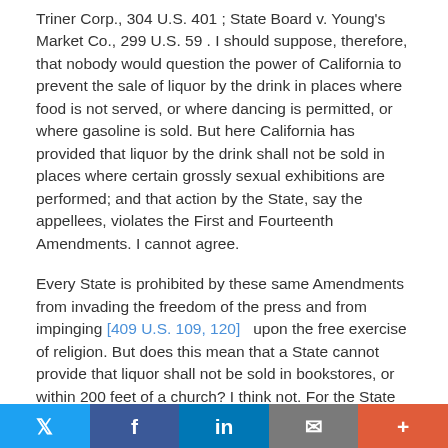Triner Corp., 304 U.S. 401 ; State Board v. Young's Market Co., 299 U.S. 59 . I should suppose, therefore, that nobody would question the power of California to prevent the sale of liquor by the drink in places where food is not served, or where dancing is permitted, or where gasoline is sold. But here California has provided that liquor by the drink shall not be sold in places where certain grossly sexual exhibitions are performed; and that action by the State, say the appellees, violates the First and Fourteenth Amendments. I cannot agree.
Every State is prohibited by these same Amendments from invading the freedom of the press and from impinging [409 U.S. 109, 120] upon the free exercise of religion. But does this mean that a State cannot provide that liquor shall not be sold in bookstores, or within 200 feet of a church? I think not. For the State would not thereby be interfering with the